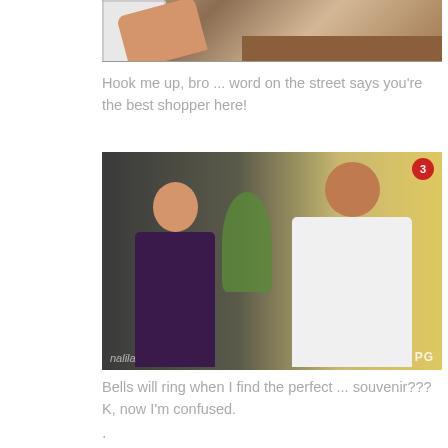[Figure (photo): Partial image of people seated, showing hands and feet near white chair and wooden furniture on tiled floor]
Hook me up, bro ... word on the street says you're the best shopper here!
[Figure (screenshot): TV screenshot showing two men — one in dark barong looking at the other in white barong who is holding a plate. A plant is in the background. TV logo and PG rating visible.]
Bells will ring when I find the perfect ... souvenir??? K, now I'm confused.